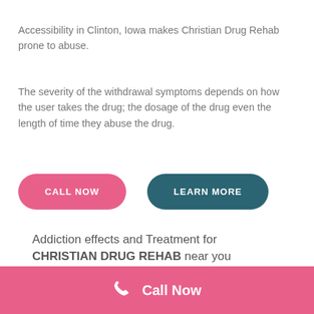Accessibility in Clinton, Iowa makes Christian Drug Rehab prone to abuse.
The severity of the withdrawal symptoms depends on how the user takes the drug; the dosage of the drug even the length of time they abuse the drug.
CALL NOW
LEARN MORE
Addiction effects and Treatment for CHRISTIAN DRUG REHAB near you
Call Now